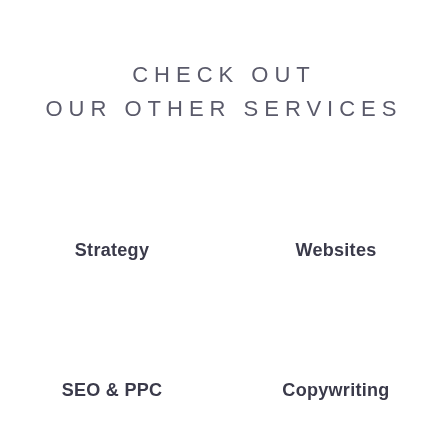CHECK OUT OUR OTHER SERVICES
Strategy
Websites
SEO & PPC
Copywriting